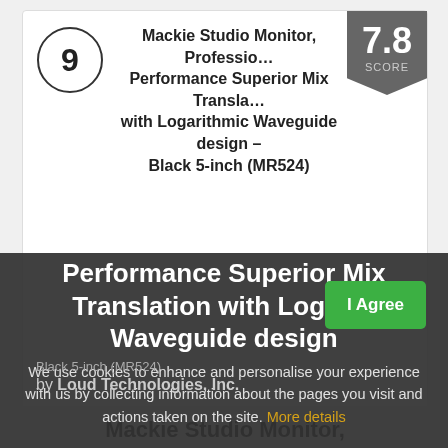9
Mackie Studio Monitor, Professional Performance Superior Mix Translation with Logarithmic Waveguide design - Black 5-inch (MR524)
7.8 SCORE
[Figure (photo): Product image area (blank/loading) for Mackie Studio Monitor]
Mackie Studio Monitor, Professional Performance Superior Mix Translation with Logarithmic Waveguide design Black 5-inch (MR524)
by Loud Technologies, Inc.
We use cookies to enhance and personalise your experience with us by collecting information about the pages you visit and actions taken on the site. More details
I Agree